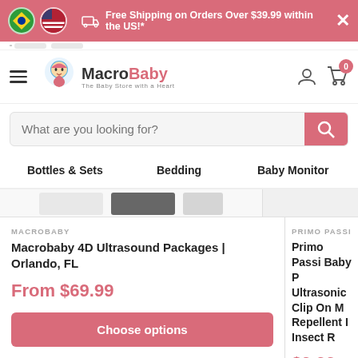[Figure (screenshot): MacroBaby e-commerce website screenshot showing banner, navigation, search bar, category links, and product listings]
Free Shipping on Orders Over $39.99 within the US!*
[Figure (logo): MacroBaby logo - The Baby Store with a Heart]
What are you looking for?
Bottles & Sets
Bedding
Baby Monitor
MACROBABY
Macrobaby 4D Ultrasound Packages | Orlando, FL
From $69.99
PRIMO PASSI
Primo Passi Baby P Ultrasonic Clip On M Repellent I Insect R
$9.99
Choose options
Add to